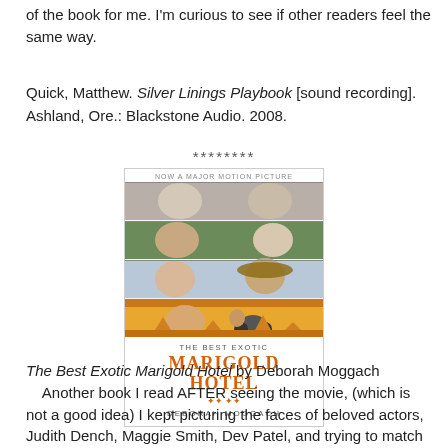of the book for me. I'm curious to see if other readers feel the same way.
Quick, Matthew. Silver Linings Playbook [sound recording]. Ashland, Ore.: Blackstone Audio. 2008.
********
[Figure (photo): Book cover of The Best Exotic Marigold Hotel by Deborah Moggach. Shows four horizontal photo strips of actors/characters, with orange and gold title text at the bottom, and a top banner reading 'NOW A MAJOR MOTION PICTURE'.]
The Best Exotic Marigold Hotel by Deborah Moggach
    Another book I read AFTER seeing the movie, (which is not a good idea) I kept picturing the faces of beloved actors, Judith Dench, Maggie Smith, Dev Patel, and trying to match them up with the characters in the book even though they